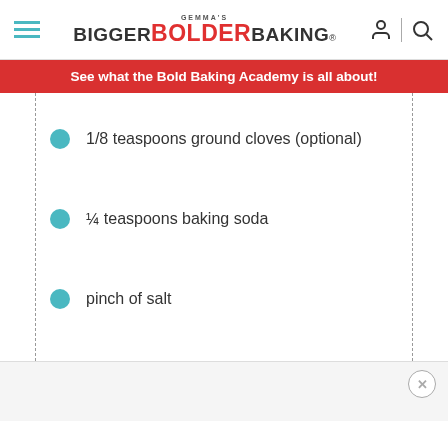Gemma's Bigger Bolder Baking
See what the Bold Baking Academy is all about!
1/8 teaspoons ground cloves (optional)
¼ teaspoons baking soda
pinch of salt